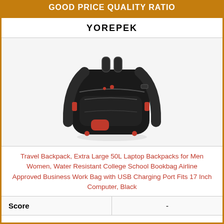GOOD PRICE QUALITY RATIO
YOREPEK
[Figure (photo): Black travel backpack with red accents, extra large 50L laptop backpack with multiple compartments and USB charging port]
Travel Backpack, Extra Large 50L Laptop Backpacks for Men Women, Water Resistant College School Bookbag Airline Approved Business Work Bag with USB Charging Port Fits 17 Inch Computer, Black
| Score | - |
| --- | --- |
1. LARGE CAPACITY & ORGANIZED: The large backpack owns 3 spacious compartments-one